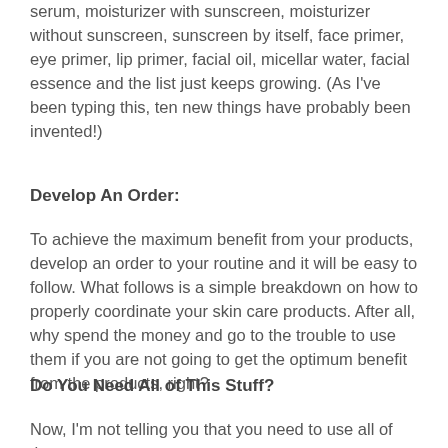serum, moisturizer with sunscreen, moisturizer without sunscreen, sunscreen by itself, face primer, eye primer, lip primer, facial oil, micellar water, facial essence and the list just keeps growing.  (As I’ve been typing this, ten new things have probably been invented!)
Develop An Order:
To achieve the maximum benefit from your products, develop an order to your routine and it will be easy to follow.  What follows is a simple breakdown on how to properly coordinate your skin care products.  After all, why spend the money and go to the trouble to use them if you are not going to get the optimum benefit from the products, right?
Do You Need All of This Stuff?
Now, I’m not telling you that you need to use all of these